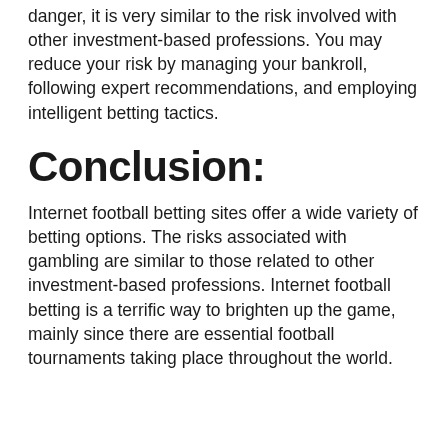danger, it is very similar to the risk involved with other investment-based professions. You may reduce your risk by managing your bankroll, following expert recommendations, and employing intelligent betting tactics.
Conclusion:
Internet football betting sites offer a wide variety of betting options. The risks associated with gambling are similar to those related to other investment-based professions. Internet football betting is a terrific way to brighten up the game, mainly since there are essential football tournaments taking place throughout the world.